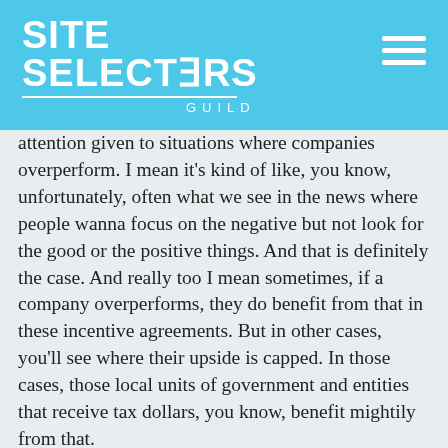SITE SELECTORS GUILD
attention given to situations where companies overperform. I mean it's kind of like, you know, unfortunately, often what we see in the news where people wanna focus on the negative but not look for the good or the positive things. And that is definitely the case. And really too I mean sometimes, if a company overperforms, they do benefit from that in these incentive agreements. But in other cases, you'll see where their upside is capped. In those cases, those local units of government and entities that receive tax dollars, you know, benefit mightily from that.
So, there's absolutely, case after case, we've seen it with a number of our clients, all the way from kind of small fast-growing privately-held businesses all the way up to Fortune 100 clients of ours where they have